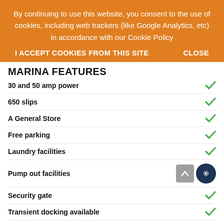By continuing to use this website, you consent to the use of cookies, including web trackers (like Google Analytics, etc) in accordance with our Cookie Policy
I ACCEPT COOKIES FROM THIS SITE    CLOSE
MARINA FEATURES
30 and 50 amp power
650 slips
A General Store
Free parking
Laundry facilities
Pump out facilities
Security gate
Transient docking available
Moorings and ??? (partially visible)